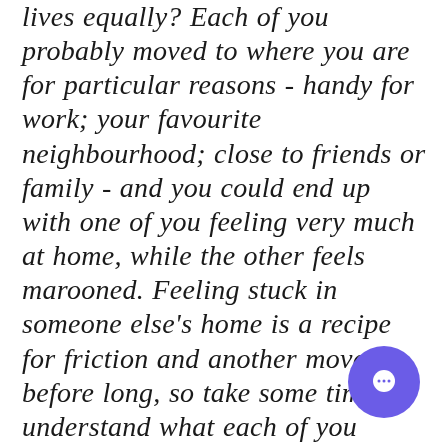lives equally? Each of you probably moved to where you are for particular reasons - handy for work; your favourite neighbourhood; close to friends or family - and you could end up with one of you feeling very much at home, while the other feels marooned. Feeling stuck in someone else's home is a recipe for friction and another move before long, so take some time to understand what each of you wants from where you live. It's a new beginning that should be right for you both. For moving in together to feel like a truly fresh start, it doesn't get much more exciting than heading out hand-in-hand to find your perfect home.
[Figure (other): Purple circular chat/message button icon in the bottom right corner]